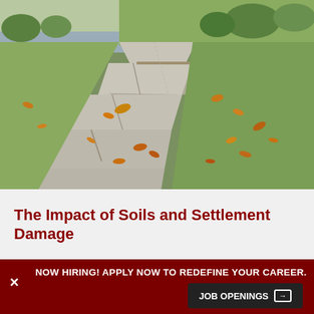[Figure (photo): Photograph of a suburban sidewalk with cracked and uneven concrete slabs, fallen autumn leaves on the pavement and grass, with a street and residential houses visible in the background.]
The Impact of Soils and Settlement Damage
NOW HIRING! APPLY NOW TO REDEFINE YOUR CAREER.
JOB OPENINGS